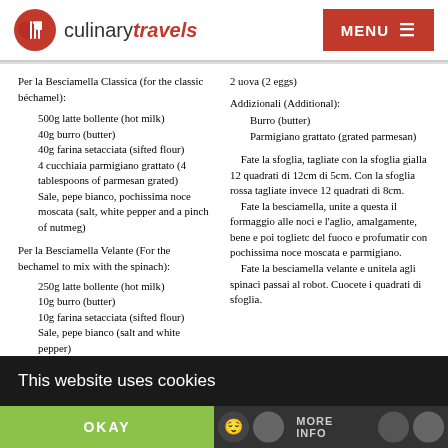culinary travels | MENU
Per la Besciamella Classica (for the classic béchamel):
500g latte bollente (hot milk)
40g burro (butter)
40g farina setacciata (sifted flour)
4 cucchiaia parmigiano grattato (4 tablespoons of parmesan grated)
Sale, pepe bianco, pochissima noce moscata (salt, white pepper and a pinch of nutmeg)
Per la Besciamella Velante (For the bechamel to mix with the spinach):
250g latte bollente (hot milk)
10g burro (butter)
10g farina setacciata (sifted flour)
Sale, pepe bianco (salt and white pepper)
2 uova (2 eggs)
Addizionali (Additional):
Burro (butter)
Parmigiano grattato (grated parmesan)
Fate la sfoglia, tagliate con la sfoglia gialla 12 quadrati di 12cm di 5cm. Con la sfoglia rossa tagliate invece 12 quadrati di 8cm.
    Fate la besciamella, unite a questa il formaggio alle noci e l'aglio, amalgamente, bene e poi toglietc del fuoco e profumatir con pochissima noce moscata e parmigiano.
    Fate la besciamella velante e unitela agli spinaci passai al robot. Cuocete i quadrati di sfoglia.
This website uses cookies
OKAY
MORE INFO